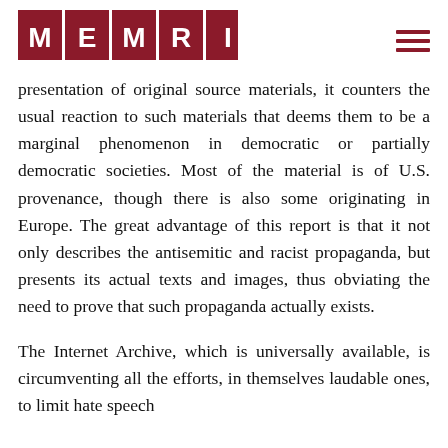MEMRI
presentation of original source materials, it counters the usual reaction to such materials that deems them to be a marginal phenomenon in democratic or partially democratic societies. Most of the material is of U.S. provenance, though there is also some originating in Europe. The great advantage of this report is that it not only describes the antisemitic and racist propaganda, but presents its actual texts and images, thus obviating the need to prove that such propaganda actually exists.
The Internet Archive, which is universally available, is circumventing all the efforts, in themselves laudable ones, to limit hate speech